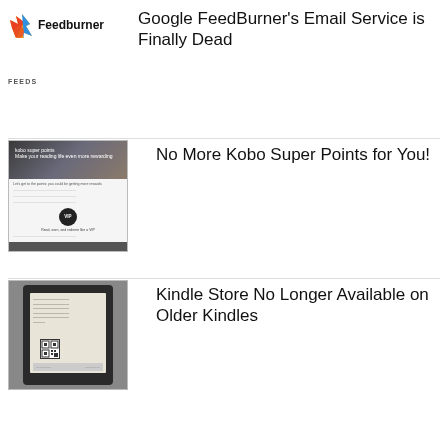[Figure (logo): Feedburner flame logo with text 'Feedburner']
Google FeedBurner's Email Service is Finally Dead
FEEDS
[Figure (photo): Kobo Super Points promotional image showing VIP program]
No More Kobo Super Points for You!
[Figure (photo): Kindle device showing a screen with QR code, indicating Kindle Store unavailability]
Kindle Store No Longer Available on Older Kindles